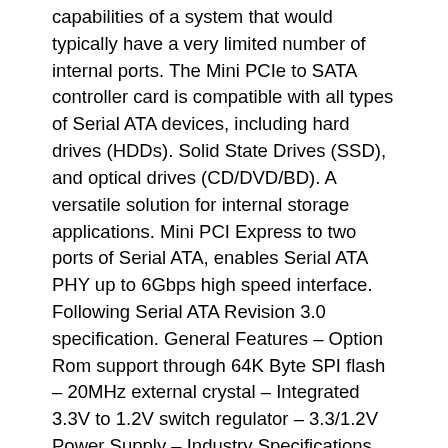capabilities of a system that would typically have a very limited number of internal ports. The Mini PCIe to SATA controller card is compatible with all types of Serial ATA devices, including hard drives (HDDs). Solid State Drives (SSD), and optical drives (CD/DVD/BD). A versatile solution for internal storage applications. Mini PCI Express to two ports of Serial ATA, enables Serial ATA PHY up to 6Gbps high speed interface. Following Serial ATA Revision 3.0 specification. General Features – Option Rom support through 64K Byte SPI flash – 20MHz external crystal – Integrated 3.3V to 1.2V switch regulator – 3.3/1.2V Power Supply – Industry Specifications Compliance: PCI Express Base Specification Rev. 2.0 Bus Master Programming Interface to IDE ATA Controller Rev. 1.0 PCI Express Card Electromechanical Rev. 2.0 Serial ATA AHCI Spec. 1.3 Serial ATA Revision 3.0 Serial ATA Features. 2 ports Serial ATA PHY for 1.5, 3.0 and 6.0GHz signaling – Support Native Command Queue – Support Gen 1m and 2m SATA PHY. Support – Windows XP 32/64, Vista 32/64, Win7 32/64, Win8 32/64, 1 u Manual, 1